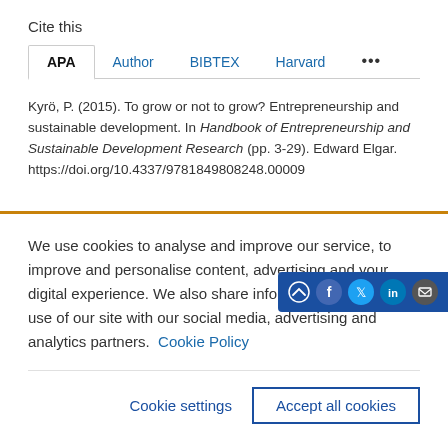Cite this
APA | Author | BIBTEX | Harvard | ...
Kyrö, P. (2015). To grow or not to grow? Entrepreneurship and sustainable development. In Handbook of Entrepreneurship and Sustainable Development Research (pp. 3-29). Edward Elgar. https://doi.org/10.4337/9781849808248.00009
We use cookies to analyse and improve our service, to improve and personalise content, advertising and your digital experience. We also share information about your use of our site with our social media, advertising and analytics partners.  Cookie Policy
Cookie settings | Accept all cookies